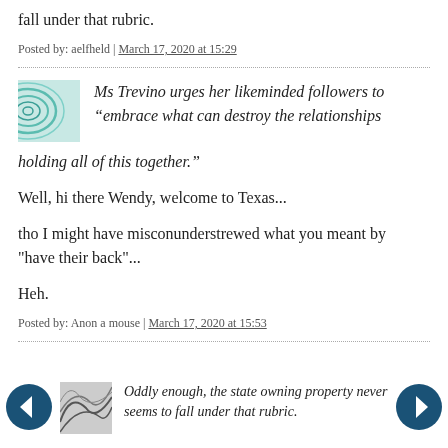fall under that rubric.
Posted by: aelfheld | March 17, 2020 at 15:29
Ms Trevino urges her likeminded followers to “embrace what can destroy the relationships holding all of this together.”
Well, hi there Wendy, welcome to Texas...
tho I might have misconunderstrewed what you meant by "have their back"...
Heh.
Posted by: Anon a mouse | March 17, 2020 at 15:53
Oddly enough, the state owning property never seems to fall under that rubric.